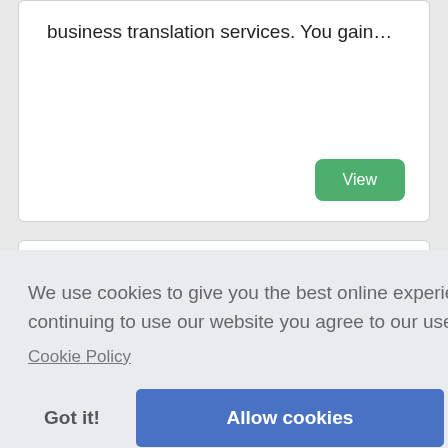business translation services. You gain…
View
[Figure (photo): Keyboard keys with various country flags including Japan, UK, EU, and others representing translation services]
We use cookies to give you the best online experience, by continuing to use our website you agree to our use of cookies.
Cookie Policy
Got it!
Allow cookies
marketing content, international customers can…